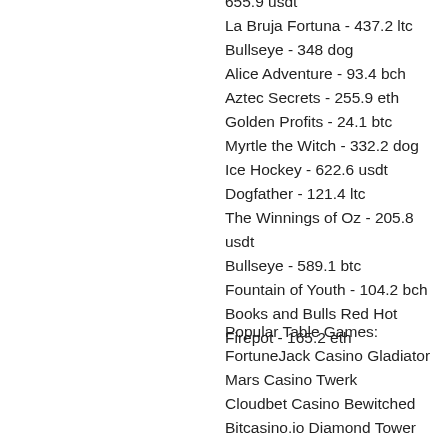655.9 usdt
La Bruja Fortuna - 437.2 ltc
Bullseye - 348 dog
Alice Adventure - 93.4 bch
Aztec Secrets - 255.9 eth
Golden Profits - 24.1 btc
Myrtle the Witch - 332.2 dog
Ice Hockey - 622.6 usdt
Dogfather - 121.4 ltc
The Winnings of Oz - 205.8 usdt
Bullseye - 589.1 btc
Fountain of Youth - 104.2 bch
Books and Bulls Red Hot Firepot - 165.2 eth
Popular Table Games:
FortuneJack Casino Gladiator
Mars Casino Twerk
Cloudbet Casino Bewitched
Bitcasino.io Diamond Tower